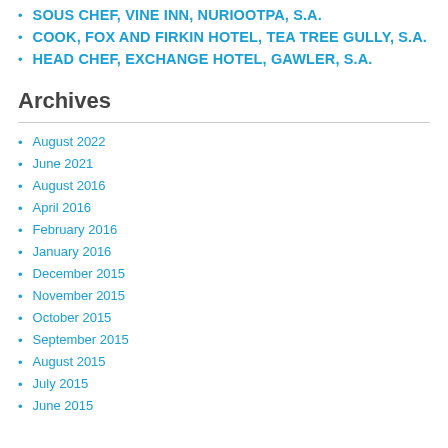SOUS CHEF, VINE INN, NURIOOTPA, S.A.
COOK, FOX AND FIRKIN HOTEL, TEA TREE GULLY, S.A.
HEAD CHEF, EXCHANGE HOTEL, GAWLER, S.A.
Archives
August 2022
June 2021
August 2016
April 2016
February 2016
January 2016
December 2015
November 2015
October 2015
September 2015
August 2015
July 2015
June 2015